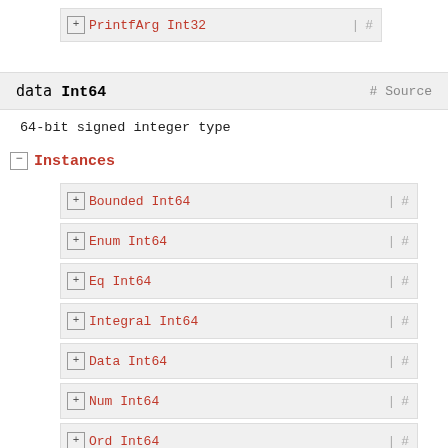⊞ PrintfArg Int32 | #
data Int64  # Source
64-bit signed integer type
− Instances
⊞ Bounded Int64 | #
⊞ Enum Int64 | #
⊞ Eq Int64 | #
⊞ Integral Int64 | #
⊞ Data Int64 | #
⊞ Num Int64 | #
⊞ Ord Int64 | #
⊞ Read Int64 | #
⊞ Real Int64 | #
⊞ Show Int64 | #
⊞ Ix Int64 | #